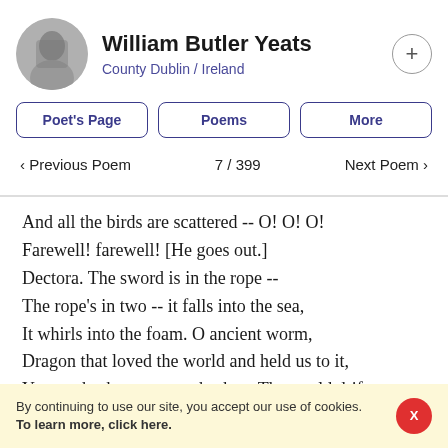William Butler Yeats
County Dublin / Ireland
Poet's Page
Poems
More
< Previous Poem   7 / 399   Next Poem >
And all the birds are scattered -- O! O! O!
Farewell! farewell! [He goes out.]
Dectora. The sword is in the rope --
The rope's in two -- it falls into the sea,
It whirls into the foam. O ancient worm,
Dragon that loved the world and held us to it,
You are broken, you are broken. The world drifts
By continuing to use our site, you accept our use of cookies.
To learn more, click here.